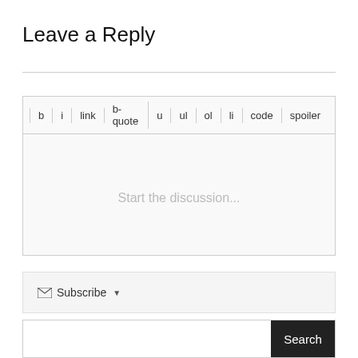Leave a Reply
[Figure (screenshot): Comment editor box with toolbar buttons: b, i, link, b-quote, u, ul, ol, li, code, spoiler. Below toolbar is placeholder text 'Start the discussion...']
Subscribe ▾
Search